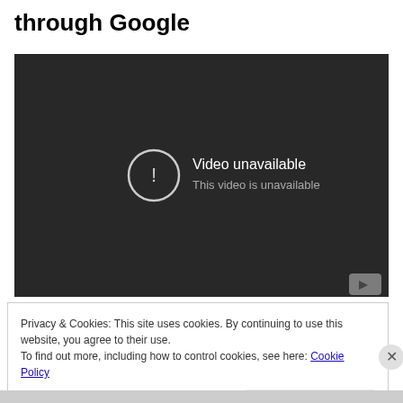through Google
[Figure (screenshot): YouTube embedded video player showing 'Video unavailable - This video is unavailable' error message on a dark background with YouTube logo button in bottom right corner]
Privacy & Cookies: This site uses cookies. By continuing to use this website, you agree to their use.
To find out more, including how to control cookies, see here: Cookie Policy
Close and accept